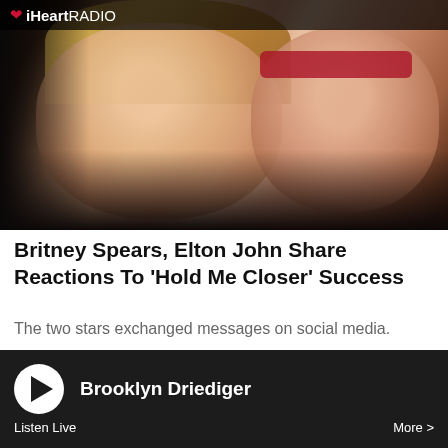[Figure (photo): Photo of Britney Spears and Elton John smiling together, with iHeartRadio logo overlay in top-left corner]
Britney Spears, Elton John Share Reactions To 'Hold Me Closer' Success
The two stars exchanged messages on social media.
[Figure (photo): Photo of a man in a white t-shirt standing in front of a brick wall]
Brooklyn Driediger
Listen Live
More >